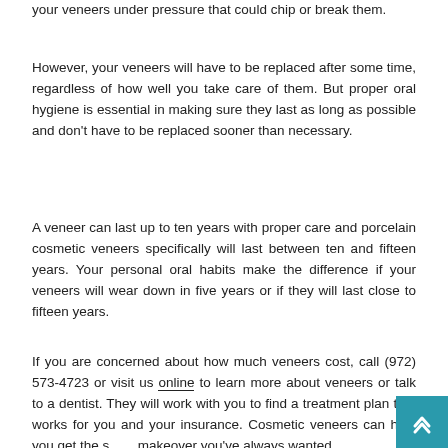your veneers under pressure that could chip or break them.
However, your veneers will have to be replaced after some time, regardless of how well you take care of them. But proper oral hygiene is essential in making sure they last as long as possible and don't have to be replaced sooner than necessary.
A veneer can last up to ten years with proper care and porcelain cosmetic veneers specifically will last between ten and fifteen years. Your personal oral habits make the difference if your veneers will wear down in five years or if they will last close to fifteen years.
If you are concerned about how much veneers cost, call (972) 573-4723 or visit us online to learn more about veneers or talk to a dentist. They will work with you to find a treatment plan that works for you and your insurance. Cosmetic veneers can help you get the smile makeover you've always wanted.